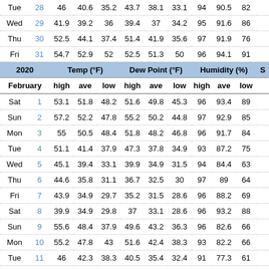|  |  | Temp (°F) high | Temp (°F) ave | Temp (°F) low | Dew Point (°F) high | Dew Point (°F) ave | Dew Point (°F) low | Humidity (%) high | Humidity (%) ave | Humidity (%) low | S |
| --- | --- | --- | --- | --- | --- | --- | --- | --- | --- | --- | --- |
| Tue | 28 | 46 | 40.6 | 35.2 | 43.7 | 38.1 | 33.1 | 94 | 90.5 | 82 |  |
| Wed | 29 | 41.9 | 39.2 | 36 | 39.4 | 37 | 34.2 | 95 | 91.6 | 86 |  |
| Thu | 30 | 52.5 | 44.1 | 37.4 | 51.4 | 41.9 | 35.6 | 97 | 91.9 | 76 |  |
| Fri | 31 | 54.7 | 52.9 | 52 | 52.5 | 51.3 | 50 | 96 | 94.1 | 91 |  |
| 2020 |  | Temp (°F) |  |  | Dew Point (°F) |  |  | Humidity (%) |  |  | S |
| February |  | high | ave | low | high | ave | low | high | ave | low |  |
| Sat | 1 | 53.1 | 51.8 | 48.2 | 51.6 | 49.8 | 45.3 | 96 | 93.4 | 89 |  |
| Sun | 2 | 57.2 | 52.2 | 47.8 | 55.2 | 50.2 | 44.8 | 97 | 92.9 | 85 |  |
| Mon | 3 | 55 | 50.5 | 48.4 | 51.8 | 48.2 | 46.8 | 96 | 91.7 | 84 |  |
| Tue | 4 | 51.1 | 41.4 | 37.9 | 47.3 | 37.8 | 34.9 | 93 | 87.2 | 75 |  |
| Wed | 5 | 45.1 | 39.4 | 33.1 | 39.9 | 34.9 | 31.5 | 94 | 84.4 | 63 |  |
| Thu | 6 | 44.6 | 35.8 | 31.1 | 36.7 | 32.5 | 30 | 97 | 89 | 64 |  |
| Fri | 7 | 43.9 | 34.9 | 29.7 | 35.2 | 31.5 | 28.6 | 96 | 88.2 | 69 |  |
| Sat | 8 | 39.9 | 34.9 | 29.8 | 37 | 33.1 | 28.6 | 96 | 93.2 | 88 |  |
| Sun | 9 | 55.6 | 48.4 | 37.9 | 49.6 | 43.2 | 36.3 | 96 | 82.6 | 66 |  |
| Mon | 10 | 55.2 | 47.8 | 43 | 51.6 | 42.4 | 38.3 | 93 | 82.2 | 66 |  |
| Tue | 11 | 46 | 42.3 | 38.3 | 40.5 | 35.4 | 32.4 | 91 | 77.3 | 61 |  |
| Wed | 12 | 44.8 | 39.7 | 37.4 | 38.8 | 35.8 | 33.8 | 92 | 86 | 76 |  |